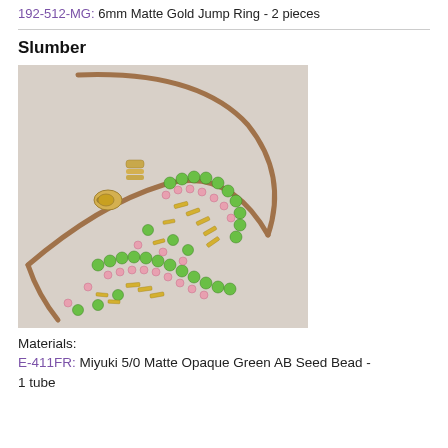192-512-MG: 6mm Matte Gold Jump Ring - 2 pieces
[Figure (photo): Close-up photo of a beaded necklace with brown leather cord, gold lobster clasp, and green seed beads with pink and gold bugle beads forming a decorative pattern.]
Slumber
Materials:
E-411FR: Miyuki 5/0 Matte Opaque Green AB Seed Bead - 1 tube